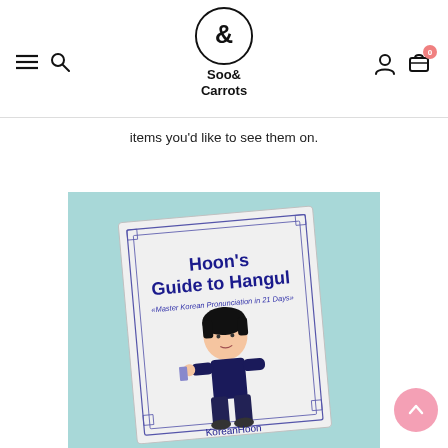[Figure (logo): Soo& Carrots logo: ampersand symbol in a circle with text 'Soo& Carrots' below]
items you'd like to see them on.
[Figure (photo): Photo of a book titled 'Hoon's Guide to Hangul - Master Korean Pronunciation in 21 Days' by KoreanHoon, featuring a chibi-style character illustration on the cover, placed on a light teal background]